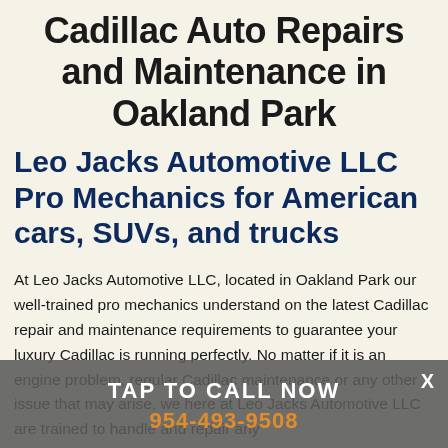Cadillac Auto Repairs and Maintenance in Oakland Park
Leo Jacks Automotive LLC Pro Mechanics for American cars, SUVs, and trucks
At Leo Jacks Automotive LLC, located in Oakland Park our well-trained pro mechanics understand on the latest Cadillac repair and maintenance requirements to guarantee your luxury Cadillac is running perfectly. No matter if it is an engine problem, regular Cadillac maintenance or any other issue that may arise, we here at Leo Jacks Automotive LLC are trained to handle and repair any
TAP TO CALL NOW
954-493-9508